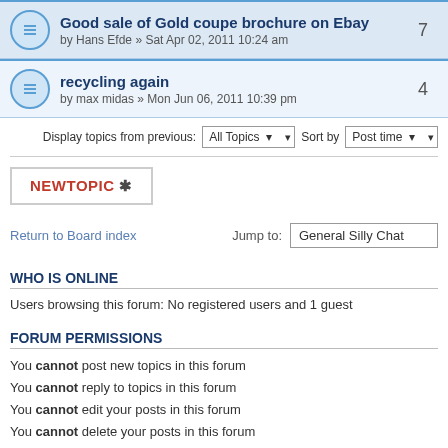Good sale of Gold coupe brochure on Ebay by Hans Efde » Sat Apr 02, 2011 10:24 am | 7
recycling again by max midas » Mon Jun 06, 2011 10:39 pm | 4
Display topics from previous: All Topics Sort by Post time
NEWTOPIC *
Return to Board index   Jump to: General Silly Chat
WHO IS ONLINE
Users browsing this forum: No registered users and 1 guest
FORUM PERMISSIONS
You cannot post new topics in this forum
You cannot reply to topics in this forum
You cannot edit your posts in this forum
You cannot delete your posts in this forum
You cannot post attachments in this forum
Board index   The team • Delete a
Powered by phpBB® Forum Software © phpBB Gr